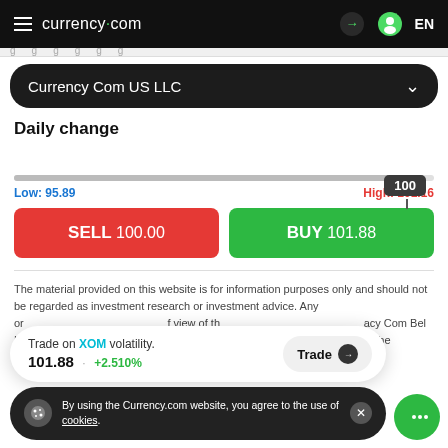currency.com
Currency Com US LLC
Daily change
[Figure (other): Price slider showing current value tooltip of 100, range from Low: 95.89 to High: 101.16]
Low: 95.89
High: 101.16
SELL  100.00
BUY  101.88
The material provided on this website is for information purposes only and should not be regarded as investment research or investment advice. Any or f view of th acy Com Bel LLC p anty on the accuracy or completeness of the information that is provided on this page.
Trade on XOM volatility. 101.88 +2.510%
By using the Currency.com website, you agree to the use of cookies.